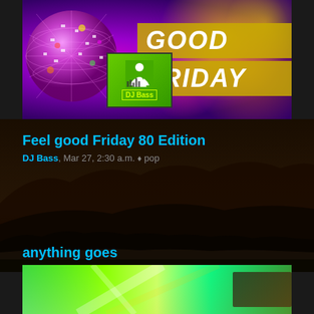[Figure (photo): Good Friday disco event banner with disco ball, bokeh lights, DJ Bass badge, and 'GOOD FRIDAY' text on golden background]
Feel good Friday 80 Edition
DJ Bass, Mar 27, 2:30 a.m. ♦ pop
anything goes
DJ Bass, Feb 13, 3:30 a.m. ♦ dance
[Figure (photo): Green neon light rays event banner at bottom of page]